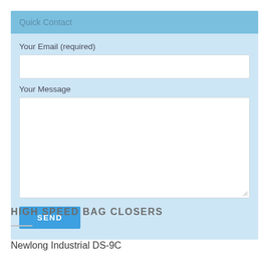Quick Contact
Your Email (required)
Your Message
SEND
HIGH SPEED BAG CLOSERS
Newlong Industrial DS-9C